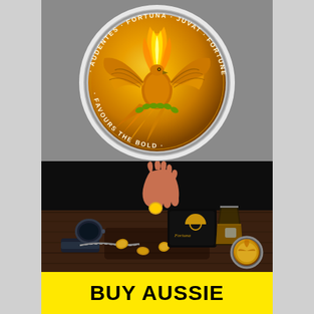[Figure (photo): Close-up photograph of a gold challenge coin featuring a phoenix bird with flames, inscribed with text 'AUDENTES FORTUNA JUVAT FORTUNE FAVOURS THE BOLD' around the rim, placed on a grey surface inside a clear plastic capsule.]
[Figure (photo): Atmospheric dark photograph showing a hand dropping or picking up a coin onto a rustic wooden surface scattered with gold coins, a black wallet with gold logo, a glass of whisky, a watch, and a coin capsule.]
BUY AUSSIE